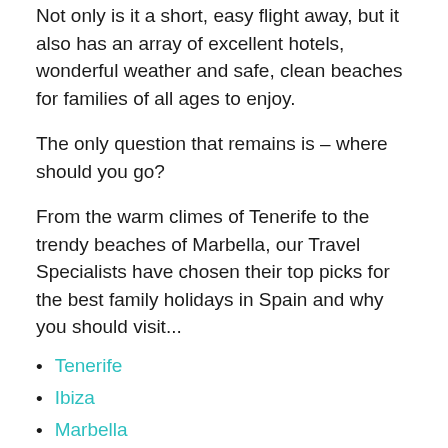Not only is it a short, easy flight away, but it also has an array of excellent hotels, wonderful weather and safe, clean beaches for families of all ages to enjoy.
The only question that remains is – where should you go?
From the warm climes of Tenerife to the trendy beaches of Marbella, our Travel Specialists have chosen their top picks for the best family holidays in Spain and why you should visit...
Tenerife
Ibiza
Marbella
Mallorca
Lanzarote